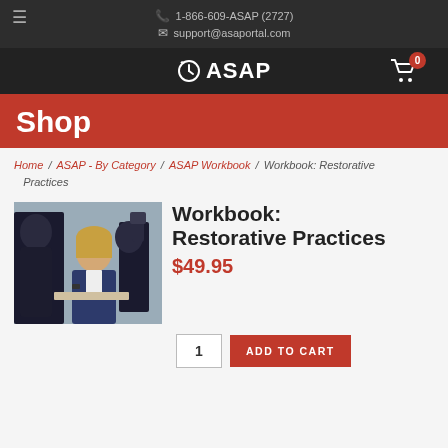1-866-609-ASAP (2727) | support@asaportal.com
[Figure (logo): ASAP logo with clock icon and shopping cart with badge showing 0]
Shop
Home / ASAP - By Category / ASAP Workbook / Workbook: Restorative Practices
Workbook: Restorative Practices
[Figure (photo): Woman in business attire seated at a table in a meeting or classroom setting]
$49.95
1  ADD TO CART